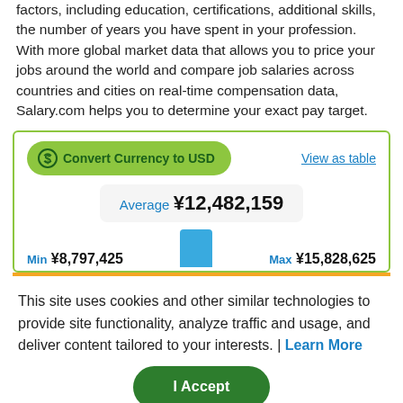factors, including education, certifications, additional skills, the number of years you have spent in your profession. With more global market data that allows you to price your jobs around the world and compare job salaries across countries and cities on real-time compensation data, Salary.com helps you to determine your exact pay target.
[Figure (infographic): Salary widget showing Convert Currency to USD button, View as table link, Average salary ¥12,482,159, Min ¥8,797,425 and Max ¥15,828,625 with a blue bar chart indicator]
This site uses cookies and other similar technologies to provide site functionality, analyze traffic and usage, and deliver content tailored to your interests. | Learn More
I Accept